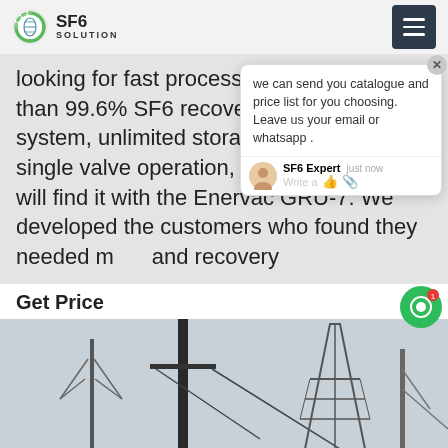SF6 SOLUTION
looking for fast processing speed, better than 99.6% SF6 recovery, a 100% oil-less system, unlimited storage capacity, easy single valve operation, or portability, you will find it with the Enervac GRU-7. We developed the ... customers who found they needed ... and recovery
we can send you catalogue and price list for you choosing. Leave us your email or whatsapp .
SF6 Expert   just now
Write a
Get Price
[Figure (photo): Outdoor electrical substation or power line infrastructure with tall metal pylons and transmission towers against a light sky. Yellow equipment visible at bottom.]